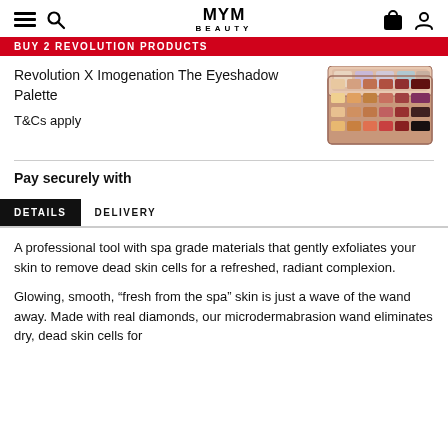MYM BEAUTY — navigation header with hamburger menu, search, logo, bag, and account icons
BUY 2 REVOLUTION PRODUCTS
Revolution X Imogenation The Eyeshadow Palette
T&Cs apply
[Figure (photo): An open eyeshadow palette with warm tones including oranges, browns, pinks, and dark shades arranged in a grid]
Pay securely with
DETAILS
A professional tool with spa grade materials that gently exfoliates your skin to remove dead skin cells for a refreshed, radiant complexion.
Glowing, smooth, “fresh from the spa” skin is just a wave of the wand away. Made with real diamonds, our microdermabrasion wand eliminates dry, dead skin cells for